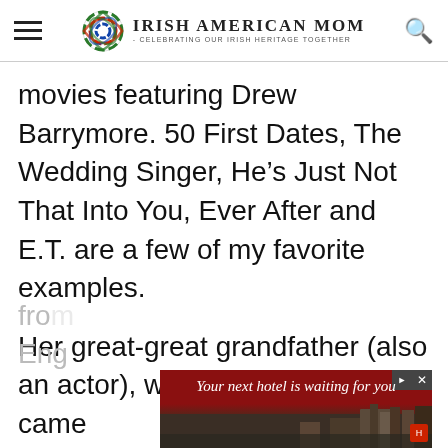Irish American Mom - Celebrating Our Irish Heritage Together
movies featuring Drew Barrymore. 50 First Dates, The Wedding Singer, He’s Just Not That Into You, Ever After and E.T. are a few of my favorite examples.
Her great-great grandfather (also an actor), was Irish, and she came from
Eng
[Figure (screenshot): Advertisement banner: 'Your next hotel is waiting for you' with hotel background image]